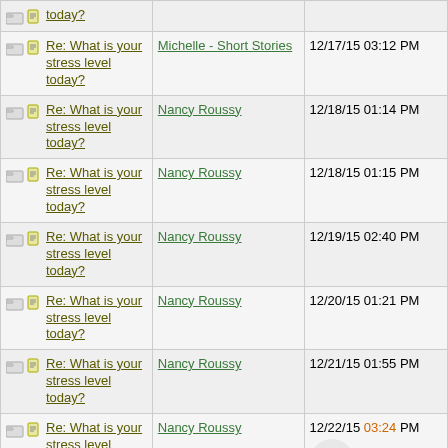| Subject | Posted By | Date |
| --- | --- | --- |
| Re: What is your stress level today? |  |  |
| Re: What is your stress level today? | Michelle - Short Stories | 12/17/15 03:12 PM |
| Re: What is your stress level today? | Nancy Roussy | 12/18/15 01:14 PM |
| Re: What is your stress level today? | Nancy Roussy | 12/18/15 01:15 PM |
| Re: What is your stress level today? | Nancy Roussy | 12/19/15 02:40 PM |
| Re: What is your stress level today? | Nancy Roussy | 12/20/15 01:21 PM |
| Re: What is your stress level today? | Nancy Roussy | 12/21/15 01:55 PM |
| Re: What is your stress level today? | Nancy Roussy | 12/22/15 03:24 PM |
| Re: What is... | Nancy Roussy | 12/23/15 02:15 PM |